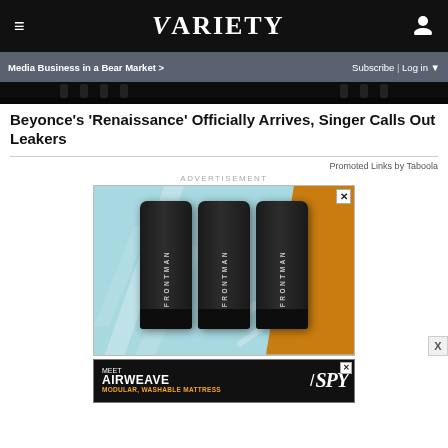≡   VARIETY   👤
Media Business in a Bear Market >   Subscribe | Log in ▼
[Figure (photo): Dark hero image strip from an article, showing partial details in black]
Beyonce's 'Renaissance' Officially Arrives, Singer Calls Out Leakers
Promoted Links by Taboola
ADVERTISEMENT
[Figure (photo): Advertisement showing three black Frontman product tubes against a light blue and orange background]
[Figure (photo): Advertisement for Airweave: MEET AIRWEAVE - MODULAR, WASHABLE MATTRESS with SPY logo]